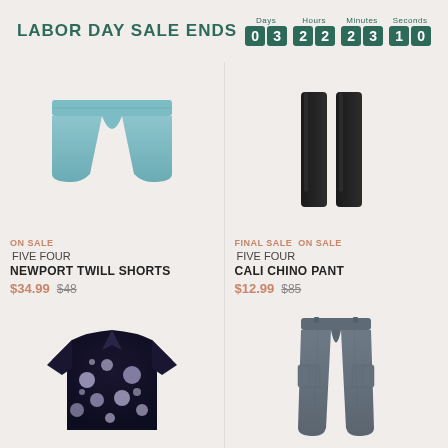LABOR DAY SALE ENDS  Days: 03  Hours: 22  Minutes: 23  Seconds: 10
[Figure (photo): Light blue Newport Twill Shorts product photo]
[Figure (photo): Black Cali Chino Pant product photo (two legs shown)]
ON SALE
FIVE FOUR
NEWPORT TWILL SHORTS
$34.99  $48
FINAL SALE  ON SALE
FIVE FOUR
CALI CHINO PANT
$12.99  $85
[Figure (photo): Dark floral print short sleeve shirt product photo]
[Figure (photo): Gray cargo pants product photo]